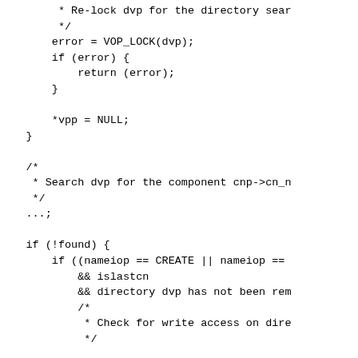* Re-lock dvp for the directory sear
         */
        error = VOP_LOCK(dvp);
        if (error) {
            return (error);
        }

        *vpp = NULL;
    }

    /*
     * Search dvp for the component cnp->cn_n
     */
    ...;

    if (!found) {
        if ((nameiop == CREATE || nameiop ==
            && islastcn
            && directory dvp has not been rem
            /*
             * Check for write access on dire
             */


            /*
             * Possibly record the position o
             * large enough for the new compo
             * recorded in the vnode private
             * Set the SAVENAME flag to hold
             */